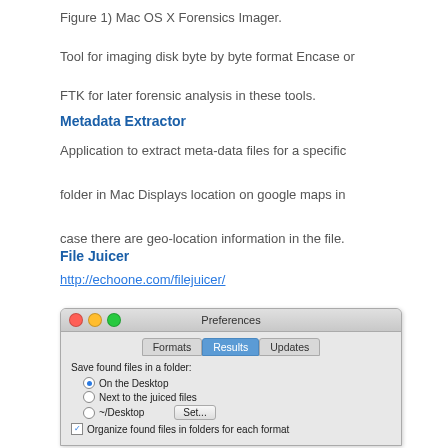Figure 1) Mac OS X Forensics Imager.
Tool for imaging disk byte by byte format Encase or FTK for later forensic analysis in these tools.
Metadata Extractor
Application to extract meta-data files for a specific folder in Mac Displays location on google maps in case there are geo-location information in the file.
File Juicer
http://echoone.com/filejuicer/
[Figure (screenshot): Mac OS X Preferences window for File Juicer showing Results tab with options: Save found files in a folder - On the Desktop (selected), Next to the juiced files, ~/Desktop with Set button, and Organize found files in folders for each format checkbox.]